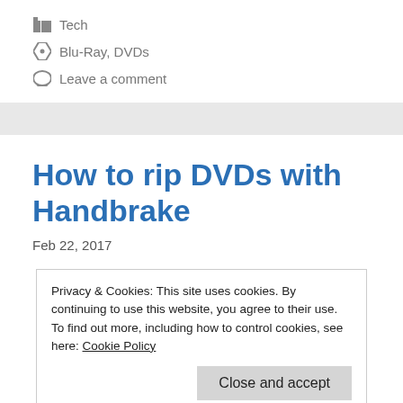Tech
Blu-Ray, DVDs
Leave a comment
How to rip DVDs with Handbrake
Feb 22, 2017
Privacy & Cookies: This site uses cookies. By continuing to use this website, you agree to their use.
To find out more, including how to control cookies, see here: Cookie Policy
buy movies from the iTunes Store; you may